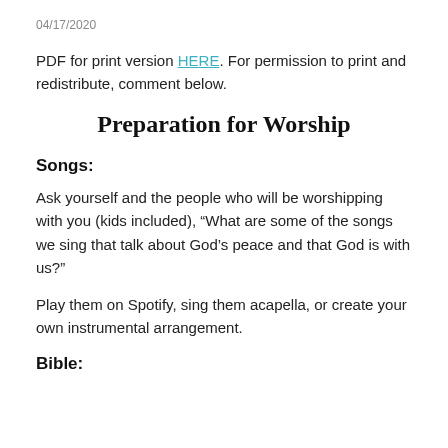04/17/2020
PDF for print version HERE. For permission to print and redistribute, comment below.
Preparation for Worship
Songs:
Ask yourself and the people who will be worshipping with you (kids included), “What are some of the songs we sing that talk about God’s peace and that God is with us?”
Play them on Spotify, sing them acapella, or create your own instrumental arrangement.
Bible: